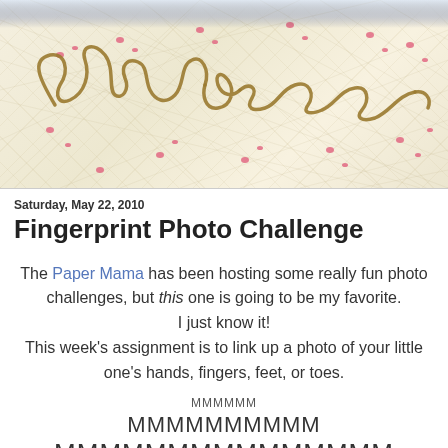[Figure (photo): Banner image showing cursive text 'love love' made from golden thread/wire on a cream quilted fabric background with small pink floral details. Top portion has a light sky/cloud area.]
Saturday, May 22, 2010
Fingerprint Photo Challenge
The Paper Mama has been hosting some really fun photo challenges, but this one is going to be my favorite. I just know it! This week's assignment is to link up a photo of your little one's hands, fingers, feet, or toes.
MMMMMM
MMMMMMMMMM
MMMMMMMMMMMMMMM